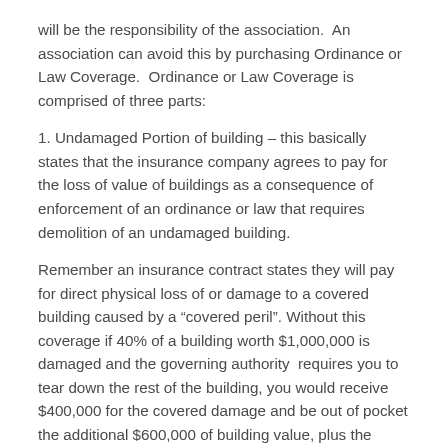will be the responsibility of the association.  An association can avoid this by purchasing Ordinance or Law Coverage.  Ordinance or Law Coverage is comprised of three parts:
1. Undamaged Portion of building – this basically states that the insurance company agrees to pay for the loss of value of buildings as a consequence of enforcement of an ordinance or law that requires demolition of an undamaged building.
Remember an insurance contract states they will pay for direct physical loss of or damage to a covered building caused by a “covered peril”. Without this coverage if 40% of a building worth $1,000,000 is damaged and the governing authority  requires you to tear down the rest of the building, you would receive $400,000 for the covered damage and be out of pocket the additional $600,000 of building value, plus the additional cost to tear down the undamaged